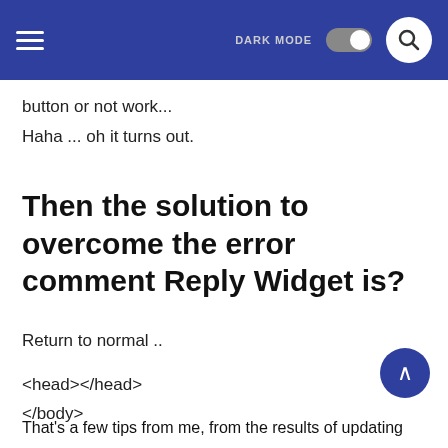DARK MODE
button or not work...
Haha ... oh it turns out.
Then the solution to overcome the error comment Reply Widget is?
Return to normal ..
<head></head>
</body>
That's a few tips from me, from the results of updating